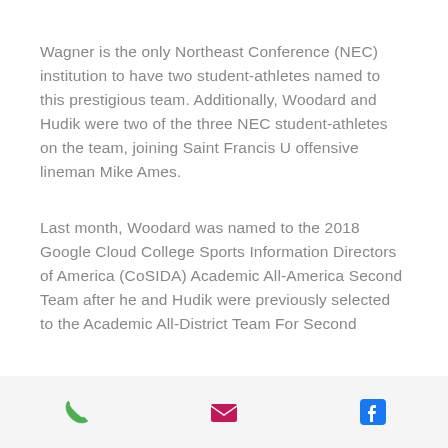Wagner is the only Northeast Conference (NEC) institution to have two student-athletes named to this prestigious team. Additionally, Woodard and Hudik were two of the three NEC student-athletes on the team, joining Saint Francis U offensive lineman Mike Ames.
Last month, Woodard was named to the 2018 Google Cloud College Sports Information Directors of America (CoSIDA) Academic All-America Second Team after he and Hudik were previously selected to the Academic All-District Team For Second
[phone icon] [email icon] [facebook icon]